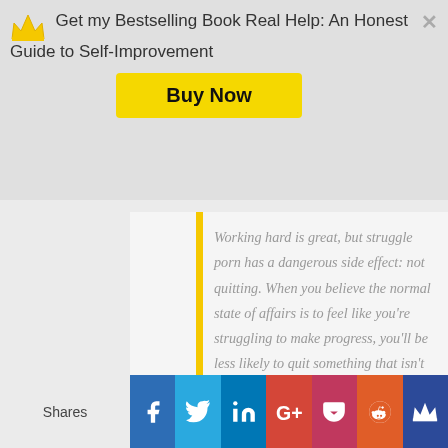Get my Bestselling Book Real Help: An Honest Guide to Self-Improvement
Buy Now
Working hard is great, but struggle porn has a dangerous side effect: not quitting. When you believe the normal state of affairs is to feel like you're struggling to make progress, you'll be less likely to quit something that isn't going anywhere.
Shares